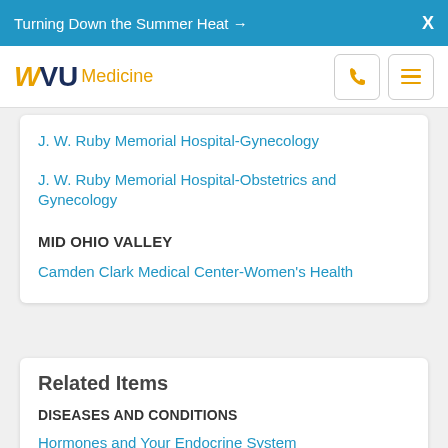Turning Down the Summer Heat →  X
[Figure (logo): WVU Medicine logo with phone and menu icons]
J. W. Ruby Memorial Hospital-Gynecology
J. W. Ruby Memorial Hospital-Obstetrics and Gynecology
MID OHIO VALLEY
Camden Clark Medical Center-Women's Health
Related Items
DISEASES AND CONDITIONS
Hormones and Your Endocrine System
Hormones During Pregnancy